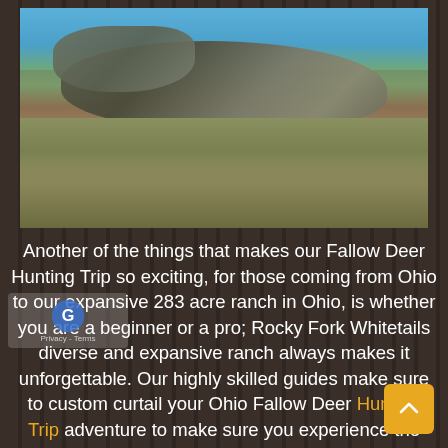[Figure (photo): Outdoor photo showing a hunter in camouflage with a harvested porcupine or similar animal on a grassy hillside with autumn trees in the background and blue sky.]
Another of the things that makes our Fallow Deer Hunting Trip so exciting, for those coming from Ohio to our expansive 283 acre ranch in Ohio, is whether you are a beginner or a pro; Rocky Fork Whitetails diverse and expansive ranch always makes it unforgettable. Our highly skilled guides make sure to custom curtail your Ohio Fallow Deer Hunting Trip adventure to make sure you experience the thrill of the hunt. Followed by the peace and relaxation only our 5 star lodge nestled in the hills of Ohio offer.